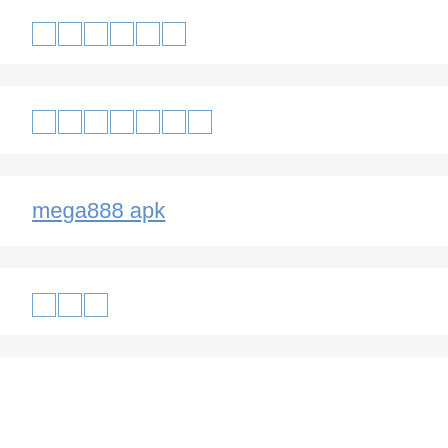□□□□□□
□□□□□□□
mega888 apk
□□□